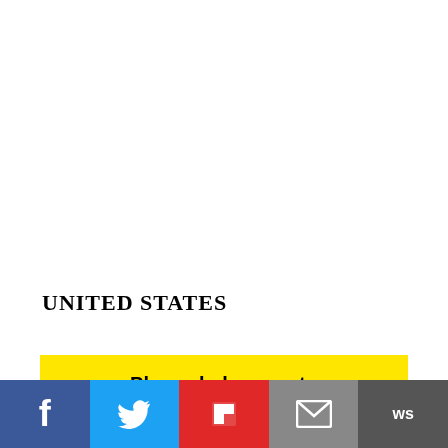UNITED STATES
Please help us out : Will you offer us a hand? Every gift, regardless of size, fuels our future. Your critical contribution enables us to maintain our independence from shareholders or wealthy owners, allowing us to keep up reporting without bias. It means we can
[Figure (other): Social sharing bar with Facebook, Twitter, Flipboard, email, and news buttons]